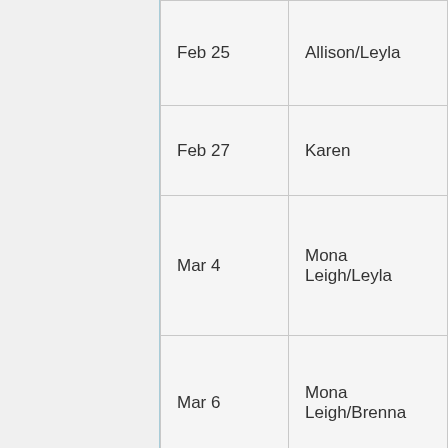| Date | Person |
| --- | --- |
| Feb 25 | Allison/Leyla |
| Feb 27 | Karen |
| Mar 4 | Mona Leigh/Leyla |
| Mar 6 | Mona Leigh/Brenna |
| Mar 11 | Mona Leigh/Leyla |